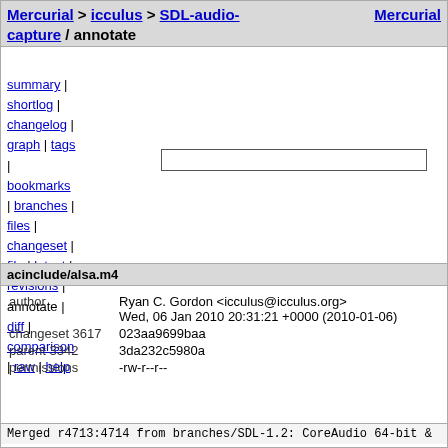Mercurial > icculus > SDL-audio-capture / annotate    Mercurial
summary |
shortlog |
changelog |
graph | tags
|
bookmarks
| branches |
files |
changeset |
file | latest |
revisions |
annotate |
diff |
comparison
| raw | help
acinclude/alsa.m4
| field | value |
| --- | --- |
| author | Ryan C. Gordon <icculus@icculus.org> |
|  | Wed, 06 Jan 2010 20:31:21 +0000 (2010-01-06) |
| changeset 3617 | 023aa9699baa |
| parent 3342 | 3da232c5980a |
| permissions | -rw-r--r-- |
Merged r4713:4714 from branches/SDL-1.2: CoreAudio 64-bit &